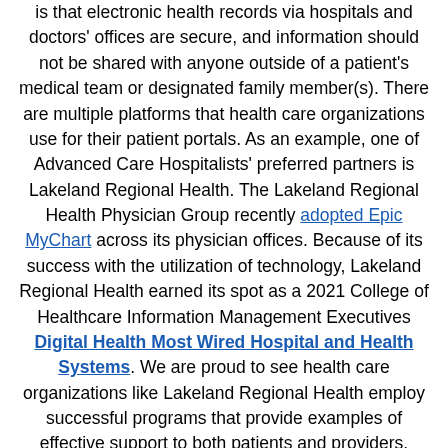is that electronic health records via hospitals and doctors' offices are secure, and information should not be shared with anyone outside of a patient's medical team or designated family member(s). There are multiple platforms that health care organizations use for their patient portals. As an example, one of Advanced Care Hospitalists' preferred partners is Lakeland Regional Health. The Lakeland Regional Health Physician Group recently adopted Epic MyChart across its physician offices. Because of its success with the utilization of technology, Lakeland Regional Health earned its spot as a 2021 College of Healthcare Information Management Executives Digital Health Most Wired Hospital and Health Systems. We are proud to see health care organizations like Lakeland Regional Health employ successful programs that provide examples of effective support to both patients and providers.